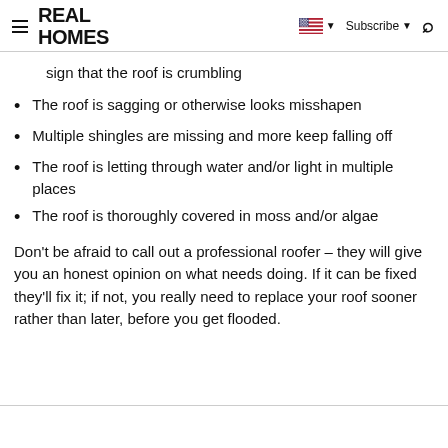REAL HOMES
sign that the roof is crumbling
The roof is sagging or otherwise looks misshapen
Multiple shingles are missing and more keep falling off
The roof is letting through water and/or light in multiple places
The roof is thoroughly covered in moss and/or algae
Don't be afraid to call out a professional roofer – they will give you an honest opinion on what needs doing. If it can be fixed they'll fix it; if not, you really need to replace your roof sooner rather than later, before you get flooded.